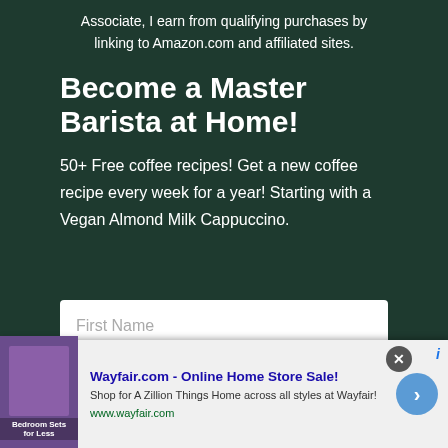Associate, I earn from qualifying purchases by linking to Amazon.com and affiliated sites.
Become a Master Barista at Home!
50+ Free coffee recipes! Get a new coffee recipe every week for a year! Starting with a Vegan Almond Milk Cappuccino.
[Figure (other): Email sign-up form with First Name input field and a second input field below it]
[Figure (other): Advertisement banner for Wayfair.com - Online Home Store Sale! with bedroom furniture image, description 'Shop for A Zillion Things Home across all styles at Wayfair!' and URL www.wayfair.com]